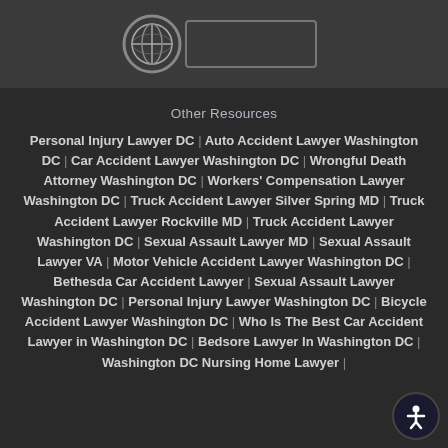[Figure (logo): Partial law firm logo with circle icon and rectangular logo area on dark background]
Other Resources
Personal Injury Lawyer DC | Auto Accident Lawyer Washington DC | Car Accident Lawyer Washington DC | Wrongful Death Attorney Washington DC | Workers' Compensation Lawyer Washington DC | Truck Accident Lawyer Silver Spring MD | Truck Accident Lawyer Rockville MD | Truck Accident Lawyer Washington DC | Sexual Assault Lawyer MD | Sexual Assault Lawyer VA | Motor Vehicle Accident Lawyer Washington DC | Bethesda Car Accident Lawyer | Sexual Assault Lawyer Washington DC | Personal Injury Lawyer Washington DC | Bicycle Accident Lawyer Washington DC | Who Is The Best Car Accident Lawyer in Washington DC | Bedsore Lawyer In Washington DC | Washington DC Nursing Home Lawyer |